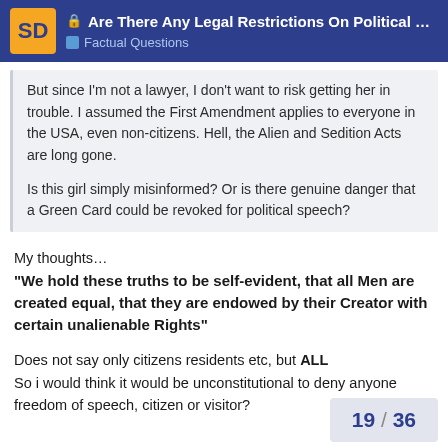🔒 Are There Any Legal Restrictions On Political ... — Factual Questions
But since I'm not a lawyer, I don't want to risk getting her in trouble. I assumed the First Amendment applies to everyone in the USA, even non-citizens. Hell, the Alien and Sedition Acts are long gone.

Is this girl simply misinformed? Or is there genuine danger that a Green Card could be revoked for political speech?
My thoughts…
"We hold these truths to be self-evident, that all Men are created equal, that they are endowed by their Creator with certain unalienable Rights"
Does not say only citizens residents etc, but ALL
So i would think it would be unconstitutional to deny anyone freedom of speech, citizen or visitor?
19 / 36